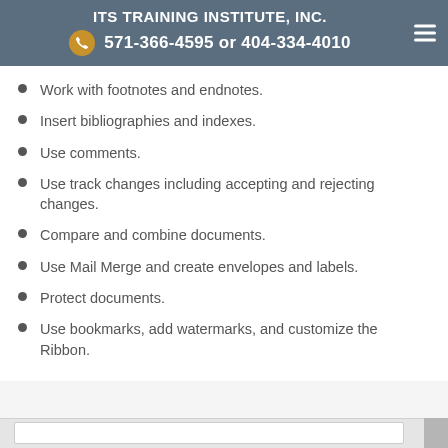ITS TRAINING INSTITUTE, INC. 571-366-4595 or 404-334-4010
Work with footnotes and endnotes.
Insert bibliographies and indexes.
Use comments.
Use track changes including accepting and rejecting changes.
Compare and combine documents.
Use Mail Merge and create envelopes and labels.
Protect documents.
Use bookmarks, add watermarks, and customize the Ribbon.